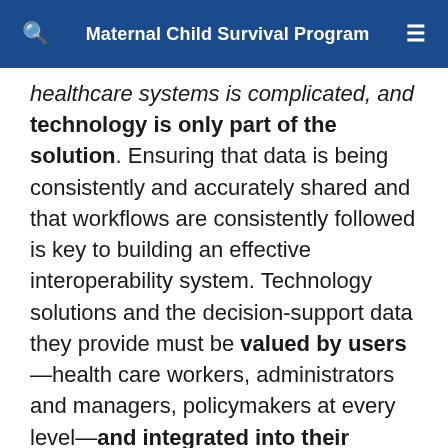Maternal Child Survival Program
healthcare systems is complicated, and technology is only part of the solution. Ensuring that data is being consistently and accurately shared and that workflows are consistently followed is key to building an effective interoperability system. Technology solutions and the decision-support data they provide must be valued by users—health care workers, administrators and managers, policymakers at every level—and integrated into their routine workflows.